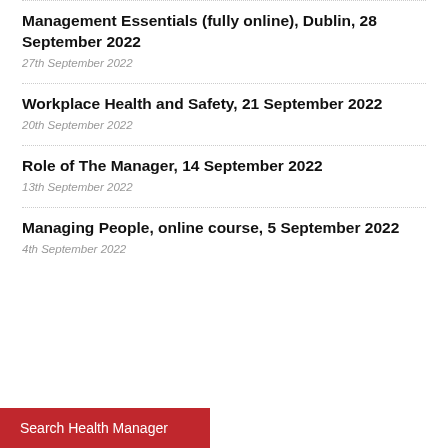Management Essentials (fully online), Dublin, 28 September 2022
27th September 2022
Workplace Health and Safety, 21 September 2022
20th September 2022
Role of The Manager, 14 September 2022
13th September 2022
Managing People, online course, 5 September 2022
4th September 2022
Search Health Manager